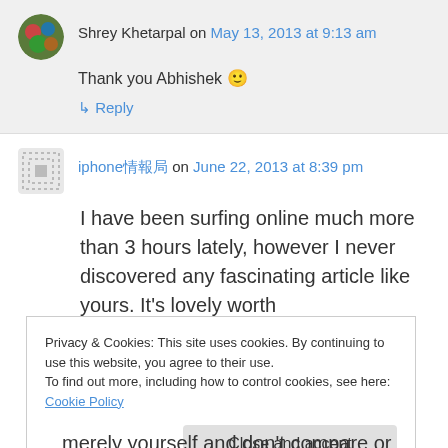Shrey Khetarpal on May 13, 2013 at 9:13 am
Thank you Abhishek 🙂
↳ Reply
iphone情報局 on June 22, 2013 at 8:39 pm
I have been surfing online much more than 3 hours lately, however I never discovered any fascinating article like yours. It's lovely worth
Privacy & Cookies: This site uses cookies. By continuing to use this website, you agree to their use.
To find out more, including how to control cookies, see here: Cookie Policy
Close and accept
merely yourself and don't compare or compete